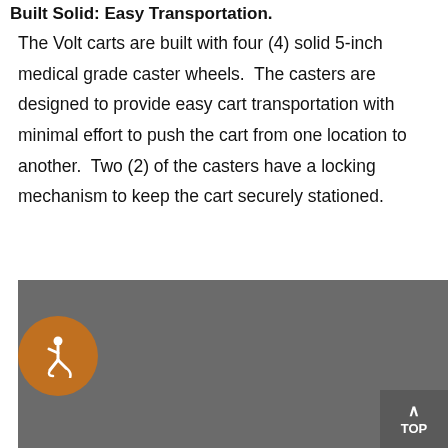Built Solid: Easy Transportation.
The Volt carts are built with four (4) solid 5-inch medical grade caster wheels.  The casters are designed to provide easy cart transportation with minimal effort to push the cart from one location to another.  Two (2) of the casters have a locking mechanism to keep the cart securely stationed.
[Figure (photo): Gray image area showing a partial product photo, with an orange accessibility (wheelchair) button in the bottom-left corner and a dark gray 'TOP' button in the bottom-right corner.]